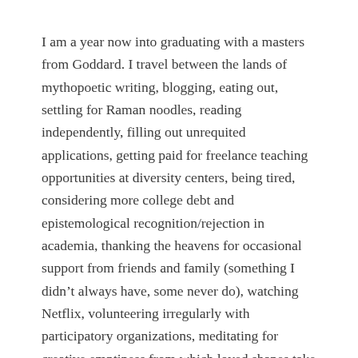I am a year now into graduating with a masters from Goddard. I travel between the lands of mythopoetic writing, blogging, eating out, settling for Raman noodles, reading independently, filling out unrequited applications, getting paid for freelance teaching opportunities at diversity centers, being tired, considering more college debt and epistemological recognition/rejection in academia, thanking the heavens for occasional support from friends and family (something I didn't always have, some never do), watching Netflix, volunteering irregularly with participatory organizations, meditating for creative emptiness from which loved shapes take form, and working at a homely chinese restaurant as a server.
Can I get an “I can relate?” Or, even better, a “have I got a